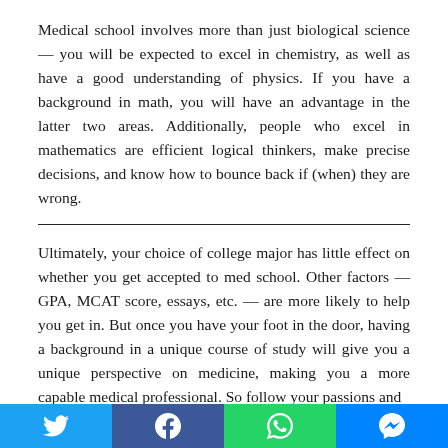Medical school involves more than just biological science — you will be expected to excel in chemistry, as well as have a good understanding of physics. If you have a background in math, you will have an advantage in the latter two areas. Additionally, people who excel in mathematics are efficient logical thinkers, make precise decisions, and know how to bounce back if (when) they are wrong.
Ultimately, your choice of college major has little effect on whether you get accepted to med school. Other factors — GPA, MCAT score, essays, etc. — are more likely to help you get in. But once you have your foot in the door, having a background in a unique course of study will give you a unique perspective on medicine, making you a more capable medical professional. So follow your passions and
[Figure (other): Social media share bar with Twitter, Facebook, WhatsApp, and Messenger buttons]